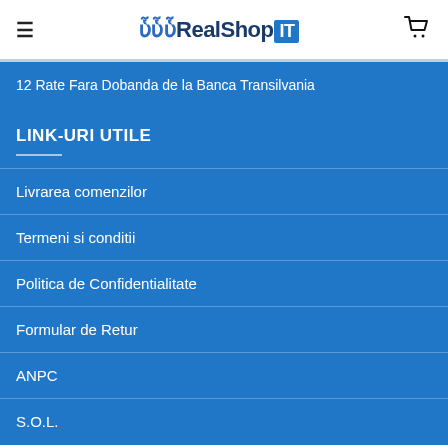RealShopIT
12 Rate Fara Dobanda de la Banca Transilvania
LINK-URI UTILE
Livrarea comenzilor
Termeni si conditii
Politica de Confidentialitate
Formular de Retur
ANPC
S.O.L.